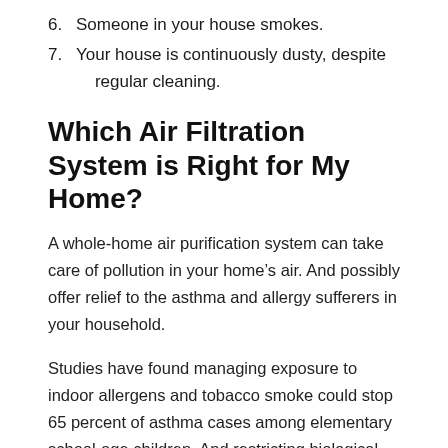6. Someone in your house smokes.
7. Your house is continuously dusty, despite regular cleaning.
Which Air Filtration System is Right for My Home?
A whole-home air purification system can take care of pollution in your home’s air. And possibly offer relief to the asthma and allergy sufferers in your household.
Studies have found managing exposure to indoor allergens and tobacco smoke could stop 65 percent of asthma cases among elementary school-age children. And restricting biological